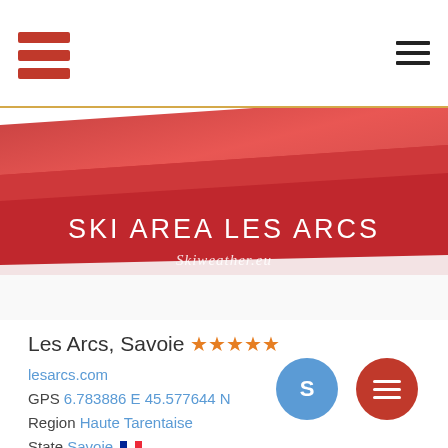SKI AREA LES ARCS — Skiweather.eu (header with navigation icons)
[Figure (illustration): Red diagonal banner background with title SKI AREA LES ARCS and subtitle Skiweather.eu]
SKI AREA LES ARCS
Skiweather.eu
Les Arcs, Savoie ★★★★★
lesarcs.com
GPS 6.783886 E 45.577644 N
Region Haute Tarentaise
State Savoie 🇫🇷
Paradiski